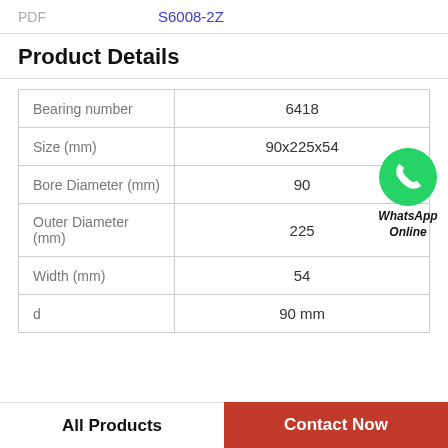| PDF | S6008-2Z |
Product Details
| Property | Value |
| --- | --- |
| Bearing number | 6418 |
| Size (mm) | 90x225x54 |
| Bore Diameter (mm) | 90 |
| Outer Diameter (mm) | 225 |
| Width (mm) | 54 |
| d | 90 mm |
[Figure (logo): WhatsApp Online green circle logo with phone icon and italic bold text 'WhatsApp Online']
All Products
Contact Now